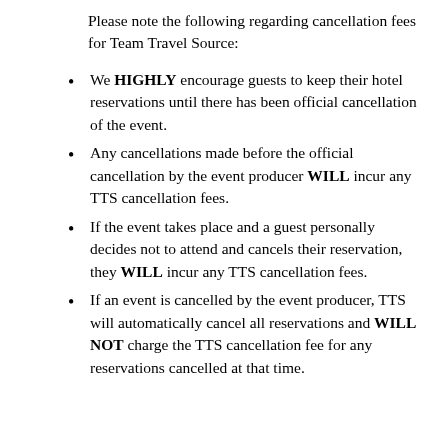Please note the following regarding cancellation fees for Team Travel Source:
We HIGHLY encourage guests to keep their hotel reservations until there has been official cancellation of the event.
Any cancellations made before the official cancellation by the event producer WILL incur any TTS cancellation fees.
If the event takes place and a guest personally decides not to attend and cancels their reservation, they WILL incur any TTS cancellation fees.
If an event is cancelled by the event producer, TTS will automatically cancel all reservations and WILL NOT charge the TTS cancellation fee for any reservations cancelled at that time.